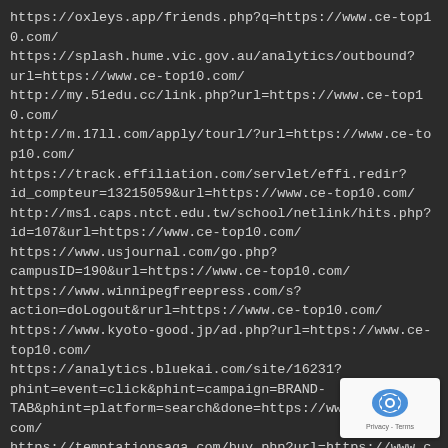https://oxleys.app/friends.php?q=https://www.ce-top10.com/
https://splash.hume.vic.gov.au/analytics/outbound?url=https://www.ce-top10.com/
http://my.51edu.cc/link.php?url=https://www.ce-top10.com/
http://m.17ll.com/apply/tourl/?url=https://www.ce-top10.com/
https://track.effiliation.com/servlet/effi.redir?id_compteur=13215059&url=https://www.ce-top10.com/
http://ms1.caps.ntct.edu.tw/school/netlink/hits.php?id=107&url=https://www.ce-top10.com/
https://www.usjournal.com/go.php?campusID=190&url=https://www.ce-top10.com/
https://www.winnipegfreepress.com/s?action=doLogout&rurl=https://www.ce-top10.com/
https://www.kyoto-good.jp/ad.php?url=https://www.ce-top10.com/
https://analytics.bluekai.com/site/16231?phint=event=click&phint=campaign=BRAND-TAB&phint=platform=search&done=https://www.ce-top10.com/
https://temptationsaga.com/buy.php?url=https://www.ce-top10.com/
https://socialmart.ru/redirect.php?url=https://www.ce-top10.com/
http://rostovklad.ru/go.php?https://www.ce-top10.com/
https://rostovmama.ru/redirect?url=https://www.ce-top10.com/
https://www.rprofi.ru/bitrix/rk.php?goto=https://www.ce-top10.com/